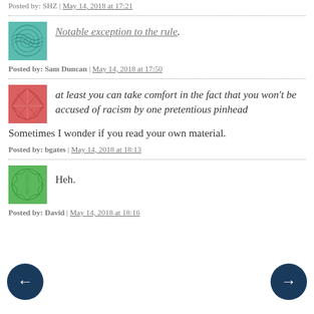Posted by: SHZ | May 14, 2018 at 17:21
Notable exception to the rule.
Posted by: Sam Duncan | May 14, 2018 at 17:50
at least you can take comfort in the fact that you won't be accused of racism by one pretentious pinhead
Sometimes I wonder if you read your own material.
Posted by: bgates | May 14, 2018 at 18:13
Heh.
Posted by: David | May 14, 2018 at 18:16